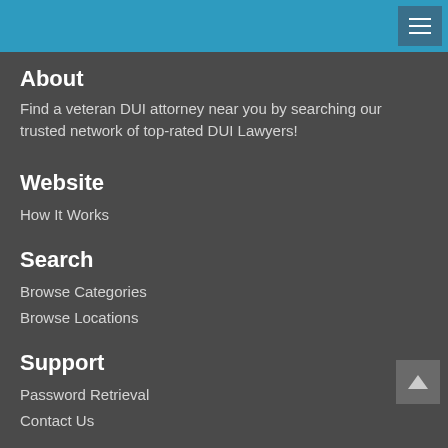Navigation menu header bar
About
Find a veteran DUI attorney near you by searching our trusted network of top-rated DUI Lawyers!
Website
How It Works
Search
Browse Categories
Browse Locations
Support
Password Retrieval
Contact Us